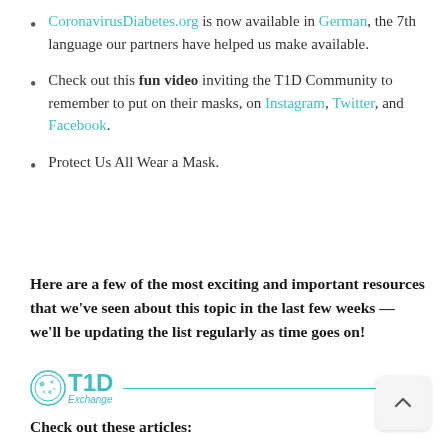CoronavirusDiabetes.org is now available in German, the 7th language our partners have helped us make available.
Check out this fun video inviting the T1D Community to remember to put on their masks, on Instagram, Twitter, and Facebook.
Protect Us All Wear a Mask.
Here are a few of the most exciting and important resources that we've seen about this topic in the last few weeks — we'll be updating the list regularly as time goes on!
[Figure (logo): T1D Exchange logo with teal text and decorative icon, followed by a horizontal teal divider line]
Check out these articles: